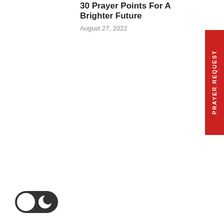30 Prayer Points For A Brighter Future
August 27, 2022
PRAYER REQUEST
[Figure (illustration): Dark mode toggle switch showing a white circle on the left and a crescent moon icon on the right, with a dark pill-shaped background]